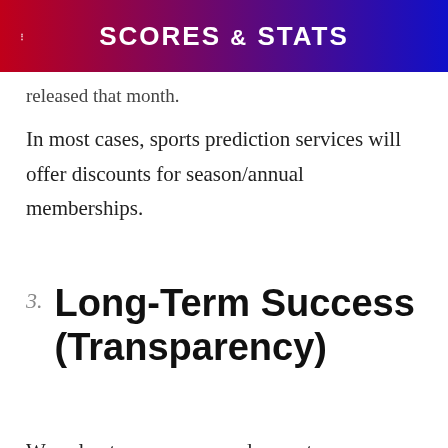SCORES & STATS
released that month.
In most cases, sports prediction services will offer discounts for season/annual memberships.
3. Long-Term Success (Transparency)
We value transparency and expect handicapping services to provide it.